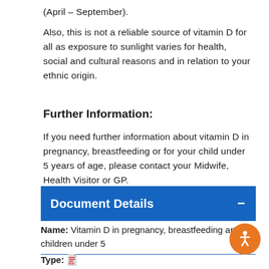(April – September).
Also, this is not a reliable source of vitamin D for all as exposure to sunlight varies for health, social and cultural reasons and in relation to your ethnic origin.
Further Information:
If you need further information about vitamin D in pregnancy, breastfeeding or for your child under 5 years of age, please contact your Midwife, Health Visitor or GP.
| Document Details |
| --- |
| Name: Vitamin D in pregnancy, breastfeeding and children under 5 |
| Type: [PDF icon] |